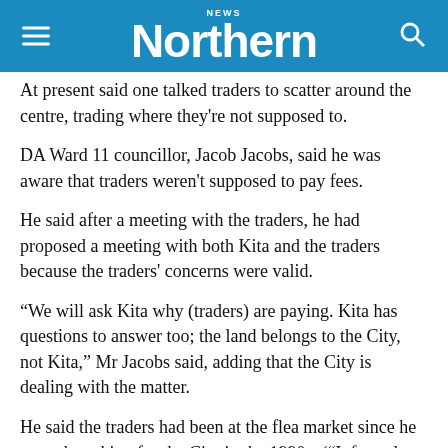Northern News
At present said one talked traders to scatter around the centre, trading where they're not supposed to.
DA Ward 11 councillor, Jacob Jacobs, said he was aware that traders weren't supposed to pay fees.
He said after a meeting with the traders, he had proposed a meeting with both Kita and the traders because the traders' concerns were valid.
"We will ask Kita why (traders) are paying. Kita has questions to answer too; the land belongs to the City, not Kita," Mr Jacobs said, adding that the City is dealing with the matter.
He said the traders had been at the flea market since he started working for the City in the 1990s. ("Informal traders